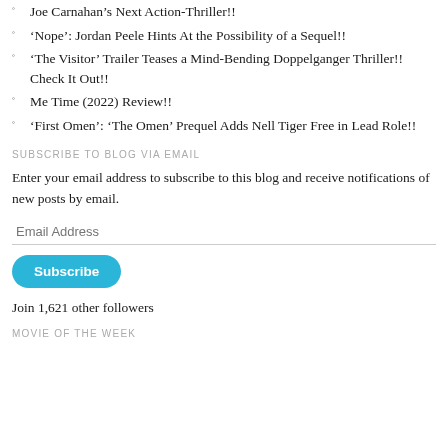Joe Carnahan’s Next Action-Thriller!!
‘Nope’: Jordan Peele Hints At the Possibility of a Sequel!!
‘The Visitor’ Trailer Teases a Mind-Bending Doppelganger Thriller!! Check It Out!!
Me Time (2022) Review!!
‘First Omen’: ‘The Omen’ Prequel Adds Nell Tiger Free in Lead Role!!
SUBSCRIBE TO BLOG VIA EMAIL
Enter your email address to subscribe to this blog and receive notifications of new posts by email.
Email Address
Subscribe
Join 1,621 other followers
MOVIE OF THE WEEK